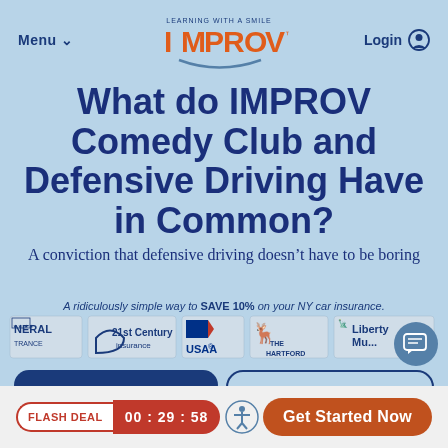Menu ∨   LEARNING WITH A SMILE IMPROV™   Login
What do IMPROV Comedy Club and Defensive Driving Have in Common?
A conviction that defensive driving doesn't have to be boring
A ridiculously simple way to SAVE 10% on your NY car insurance.
[Figure (logo): Insurance company logos: General Insurance, 21st Century Insurance, USAA, The Hartford, Liberty Mutual]
FLASH DEAL  00 : 29 : 58   Get Started Now